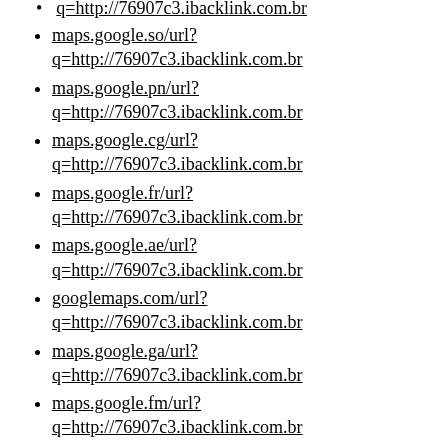q=http://76907c3.ibacklink.com.br (partial, top cut off)
maps.google.so/url?q=http://76907c3.ibacklink.com.br
maps.google.pn/url?q=http://76907c3.ibacklink.com.br
maps.google.cg/url?q=http://76907c3.ibacklink.com.br
maps.google.fr/url?q=http://76907c3.ibacklink.com.br
maps.google.ae/url?q=http://76907c3.ibacklink.com.br
googlemaps.com/url?q=http://76907c3.ibacklink.com.br
maps.google.ga/url?q=http://76907c3.ibacklink.com.br
maps.google.fm/url?q=http://76907c3.ibacklink.com.br
maps.google.mw/url?q=http://76907c3.ibacklink.com.br